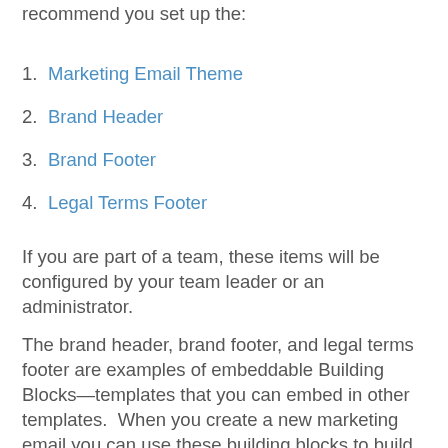recommend you set up the:
1. Marketing Email Theme
2. Brand Header
3. Brand Footer
4. Legal Terms Footer
If you are part of a team, these items will be configured by your team leader or an administrator.
The brand header, brand footer, and legal terms footer are examples of embeddable Building Blocks—templates that you can embed in other templates.  When you create a new marketing email you can use these building blocks to build your email.
You can create additional Building Blocks to make assembling future email templates easy. Anytime you find